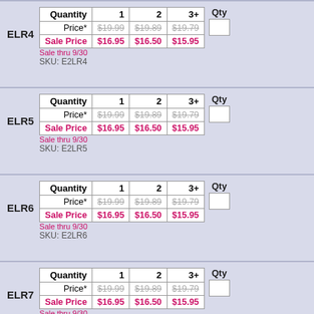| Quantity | 1 | 2 | 3+ |
| --- | --- | --- | --- |
| Price* | $19.99 | $19.89 | $19.79 |
| Sale Price | $16.95 | $16.50 | $15.95 |
| Quantity | 1 | 2 | 3+ |
| --- | --- | --- | --- |
| Price* | $19.99 | $19.89 | $19.79 |
| Sale Price | $16.95 | $16.50 | $15.95 |
| Quantity | 1 | 2 | 3+ |
| --- | --- | --- | --- |
| Price* | $19.99 | $19.89 | $19.79 |
| Sale Price | $16.95 | $16.50 | $15.95 |
| Quantity | 1 | 2 | 3+ |
| --- | --- | --- | --- |
| Price* | $19.99 | $19.89 | $19.79 |
| Sale Price | $16.95 | $16.50 | $15.95 |